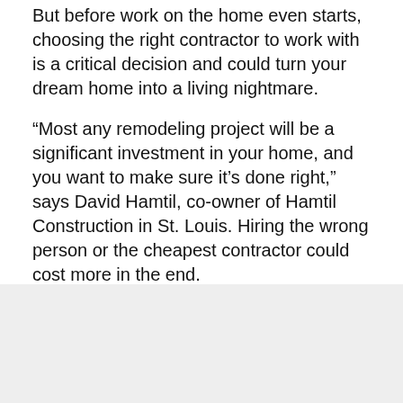But before work on the home even starts, choosing the right contractor to work with is a critical decision and could turn your dream home into a living nightmare.
“Most any remodeling project will be a significant investment in your home, and you want to make sure it’s done right,” says David Hamtil, co-owner of Hamtil Construction in St. Louis. Hiring the wrong person or the cheapest contractor could cost more in the end.
“You’re trusting someone with a lot of money to work on your house—do as much as you can to vet this person,” says Larry Bilotti, executive editor of BobVila.com. If there are any problems in the future, you want to be able to call that contractor to have it fixed.
[Figure (other): Gray shaded box area at bottom of page]